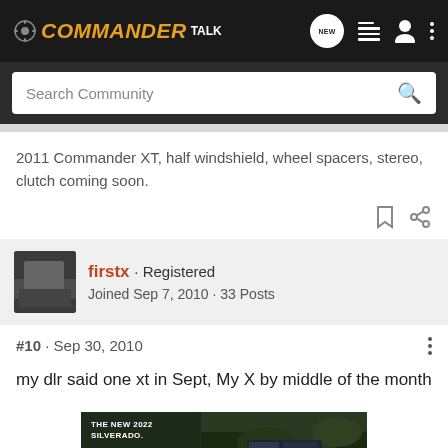COMMANDER TALK
Search Community
2011 Commander XT, half windshield, wheel spacers, stereo, clutch coming soon.
firstx · Registered
Joined Sep 7, 2010 · 33 Posts
#10 · Sep 30, 2010
my dlr said one xt in Sept, My X by middle of the month
[Figure (screenshot): Chevrolet Silverado 2022 advertisement banner showing truck and Chevrolet logo with text 'THE NEW 2022 SILVERADO.' and Explore button]